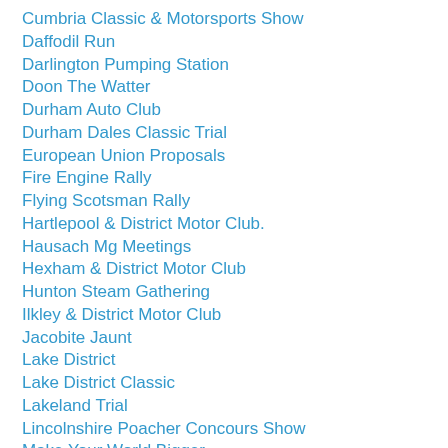Cumbria Classic & Motorsports Show
Daffodil Run
Darlington Pumping Station
Doon The Watter
Durham Auto Club
Durham Dales Classic Trial
European Union Proposals
Fire Engine Rally
Flying Scotsman Rally
Hartlepool & District Motor Club.
Hausach Mg Meetings
Hexham & District Motor Club
Hunton Steam Gathering
Ilkley & District Motor Club
Jacobite Jaunt
Lake District
Lake District Classic
Lakeland Trial
Lincolnshire Poacher Concours Show
Make Your World Bigger
MGYS